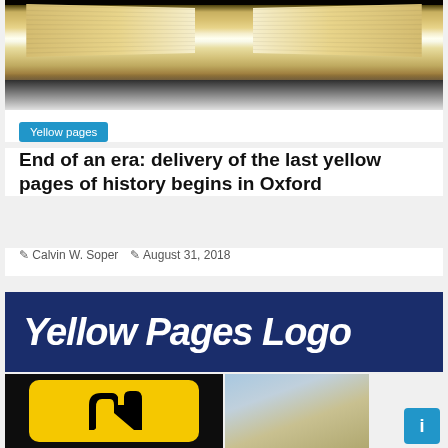[Figure (photo): Open book with yellowed pages photographed from above]
Yellow pages
End of an era: delivery of the last yellow pages of history begins in Oxford
Calvin W. Soper   August 31, 2018
[Figure (logo): Yellow Pages Logo banner with dark blue background and white bold italic text]
[Figure (logo): Yellow Pages icon — yellow rounded square with black walking fingers logo on black background]
[Figure (photo): Portrait photo of an elderly smiling man outdoors]